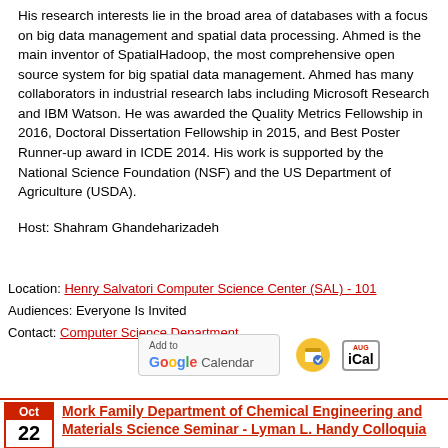His research interests lie in the broad area of databases with a focus on big data management and spatial data processing. Ahmed is the main inventor of SpatialHadoop, the most comprehensive open source system for big spatial data management. Ahmed has many collaborators in industrial research labs including Microsoft Research and IBM Watson. He was awarded the Quality Metrics Fellowship in 2016, Doctoral Dissertation Fellowship in 2015, and Best Poster Runner-up award in ICDE 2014. His work is supported by the National Science Foundation (NSF) and the US Department of Agriculture (USDA).
Host: Shahram Ghandeharizadeh
Location: Henry Salvatori Computer Science Center (SAL) - 101
Audiences: Everyone Is Invited
Contact: Computer Science Department
[Figure (screenshot): Add to Google Calendar, Outlook, and iCal buttons]
Mork Family Department of Chemical Engineering and Materials Science Seminar - Lyman L. Handy Colloquia